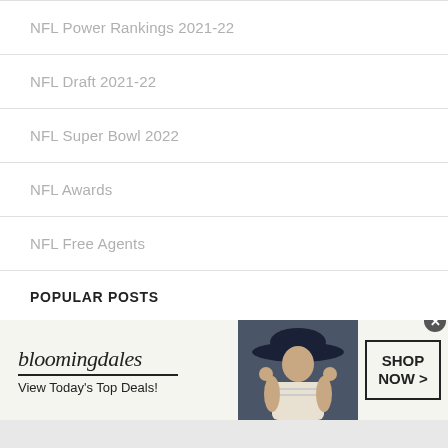NFL Power Rankings 2021-22
NFL Draft 2021-22
NFL Super Bowl 2022
NFL Awards
NFL Free Agents
POPULAR POSTS
New Zealand tour of Netherlands 2022
August 2, 2022
[Figure (screenshot): Bloomingdale's advertisement banner: logo with 'bloomingdales', tagline 'View Today's Top Deals!', image of woman with wide-brim hat, and 'SHOP NOW >' button]